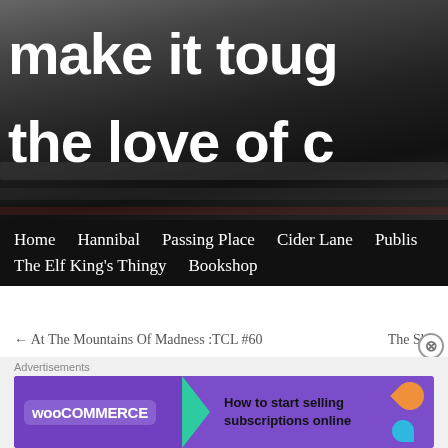[Figure (screenshot): Website header banner with dark ocean/beach background image and white bold text reading 'make it toug' and 'the love of c' (text is cropped on the right)]
Home   Hannibal   Passing Place   Cider Lane   Publis   The Elf King's Thingy   Bookshop
← At The Mountains Of Madness :TCL #60    The Sha
Writing in the dark
Posted on September 21, 2020 by darrack1
Fairy tales, those bright cheerful stories of our childhoo
Advertisements
[Figure (screenshot): WooCommerce advertisement banner: purple background with WooCommerce logo, green arrow, and text 'How to start selling subscriptions online']